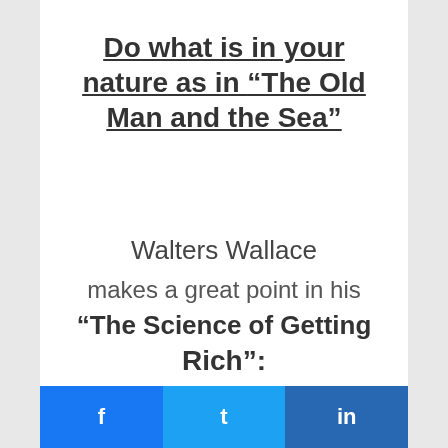Do what is in your nature as in “The Old Man and the Sea”
Walters Wallace makes a great point in his “The Science of Getting Rich”: